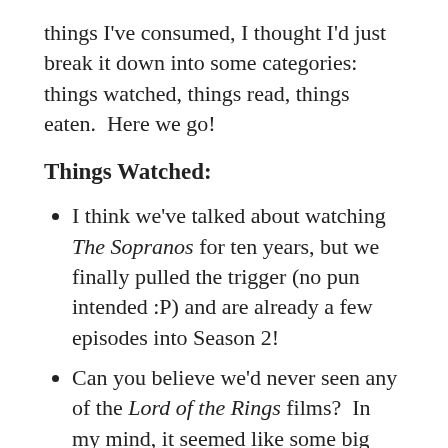things I've consumed, I thought I'd just break it down into some categories: things watched, things read, things eaten.  Here we go!
Things Watched:
I think we've talked about watching The Sopranos for ten years, but we finally pulled the trigger (no pun intended :P) and are already a few episodes into Season 2!
Can you believe we'd never seen any of the Lord of the Rings films?  In my mind, it seemed like some big time commitment and I'd made it my whole life without them, so it didn't feel pressing but we plowed through them